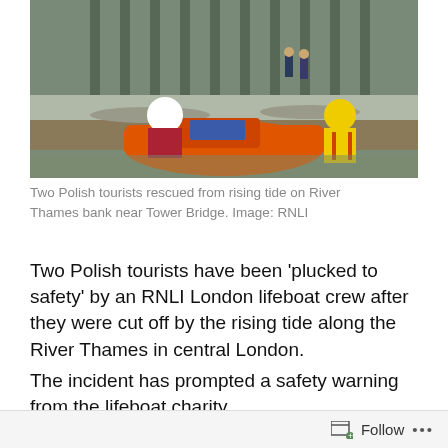[Figure (photo): RNLI lifeboat crew on an orange inflatable rescue boat on the River Thames near Tower Bridge. Two crew members in yellow and orange lifejackets and helmets are visible on the boat with navigation equipment. The riverbank with wooden piles and people watching is visible in the background.]
Two Polish tourists rescued from rising tide on River Thames bank near Tower Bridge. Image: RNLI
Two Polish tourists have been ‘plucked to safety’ by an RNLI London lifeboat crew after they were cut off by the rising tide along the River Thames in central London.
The incident has prompted a safety warning from the lifeboat charity.
Follow ...